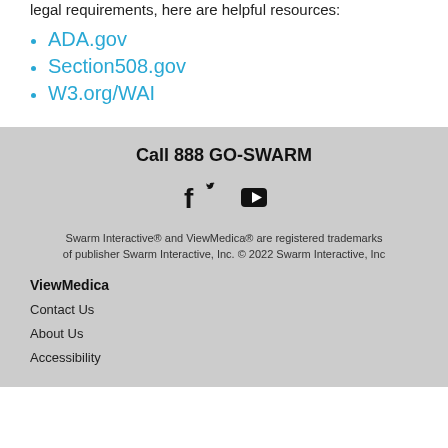legal requirements, here are helpful resources:
ADA.gov
Section508.gov
W3.org/WAI
Call 888 GO-SWARM
[Figure (illustration): Social media icons: Facebook, Twitter, YouTube]
Swarm Interactive® and ViewMedica® are registered trademarks of publisher Swarm Interactive, Inc. © 2022 Swarm Interactive, Inc
ViewMedica
Contact Us
About Us
Accessibility